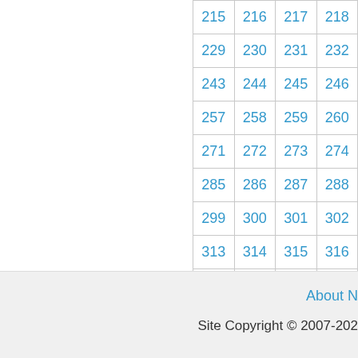| 215 | 216 | 217 | 218 | … |
| 229 | 230 | 231 | 232 | … |
| 243 | 244 | 245 | 246 | … |
| 257 | 258 | 259 | 260 | … |
| 271 | 272 | 273 | 274 | … |
| 285 | 286 | 287 | 288 | … |
| 299 | 300 | 301 | 302 | … |
| 313 | 314 | 315 | 316 | … |
| 327 | 328 | 329 | 330 | … |
| 341 | 342 | 343 | 344 | … |
| 355 | 356 | 357 | 358 | … |
About … Site Copyright © 2007-202…